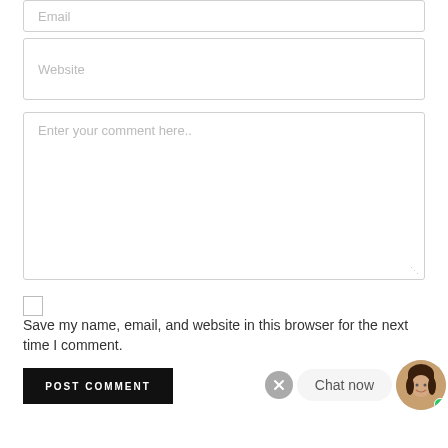Email
Website
Enter your comment here..
Save my name, email, and website in this browser for the next time I comment.
POST COMMENT
Chat now